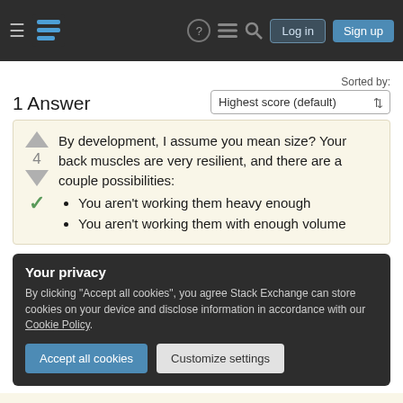Navigation bar with logo, icons, Log in, Sign up buttons
Sorted by:
1 Answer
Highest score (default)
By development, I assume you mean size? Your back muscles are very resilient, and there are a couple possibilities:
You aren't working them heavy enough
You aren't working them with enough volume
Your privacy
By clicking "Accept all cookies", you agree Stack Exchange can store cookies on your device and disclose information in accordance with our Cookie Policy.
Accept all cookies
Customize settings